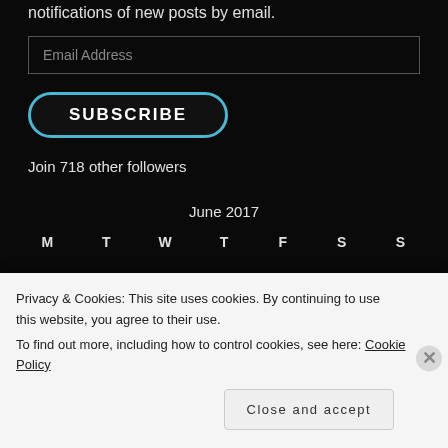notifications of new posts by email.
Email Address
SUBSCRIBE
Join 718 other followers
June 2017
M  T  W  T  F  S  S
Privacy & Cookies: This site uses cookies. By continuing to use this website, you agree to their use.
To find out more, including how to control cookies, see here: Cookie Policy
Close and accept